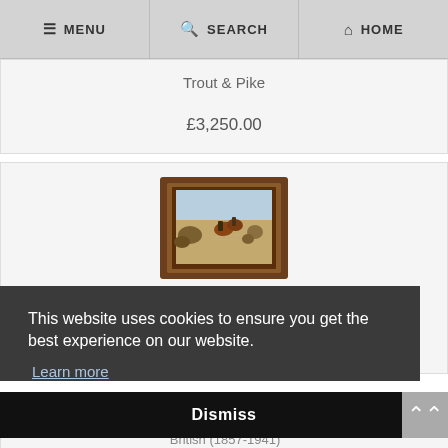MENU | SEARCH | HOME
Trout & Pike
£3,250.00
[Figure (photo): Framed painting of a hunting or battle scene with horses and figures in a landscape, in a dark wood frame]
This website uses cookies to ensure you get the best experience on our website.
Learn more
Dismiss
British (1857-1941)